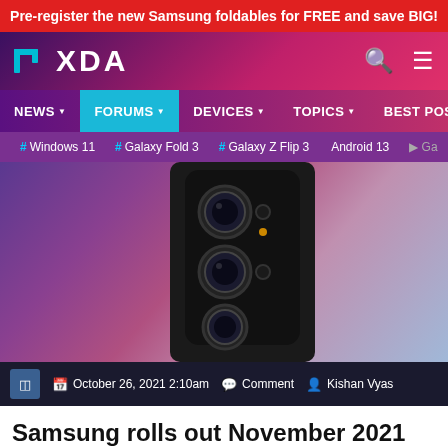Pre-register the new Samsung foldables for FREE and save BIG!
[Figure (screenshot): XDA Developers website header with logo, search and hamburger icons, navigation menu with NEWS, FORUMS (active/highlighted), DEVICES, TOPICS, BEST POSTS, and a tags bar with Windows 11, Galaxy Fold 3, Galaxy Z Flip 3, Android 13, Ga...]
[Figure (photo): Close-up photo of the rear camera system of a Samsung Galaxy S21 Ultra smartphone in black, showing multiple camera lenses on a purple/pink blurred background.]
October 26, 2021 2:10am   Comment   Kishan Vyas
Samsung rolls out November 2021 security patches early for the Galaxy S21